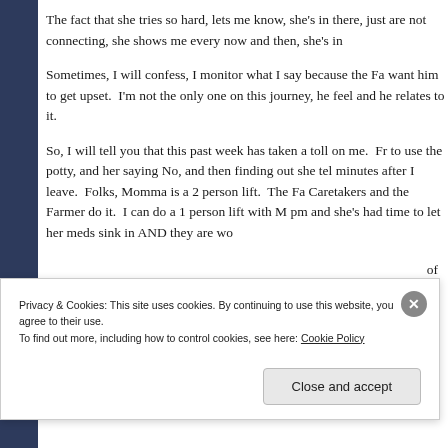The fact that she tries so hard, lets me know, she's in there, just are not connecting, she shows me every now and then, she's in
Sometimes, I will confess, I monitor what I say because the Fa want him to get upset. I'm not the only one on this journey, he feel and he relates to it.
So, I will tell you that this past week has taken a toll on me. Fr to use the potty, and her saying No, and then finding out she tel minutes after I leave. Folks, Momma is a 2 person lift. The Fa Caretakers and the Farmer do it. I can do a 1 person lift with M pm and she's had time to let her meds sink in AND they are wo
of
Privacy & Cookies: This site uses cookies. By continuing to use this website, you agree to their use.
To find out more, including how to control cookies, see here: Cookie Policy